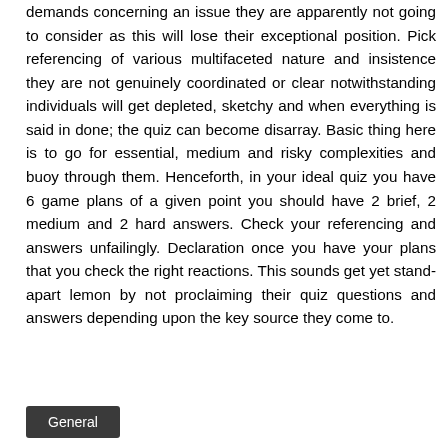demands concerning an issue they are apparently not going to consider as this will lose their exceptional position. Pick referencing of various multifaceted nature and insistence they are not genuinely coordinated or clear notwithstanding individuals will get depleted, sketchy and when everything is said in done; the quiz can become disarray. Basic thing here is to go for essential, medium and risky complexities and buoy through them. Henceforth, in your ideal quiz you have 6 game plans of a given point you should have 2 brief, 2 medium and 2 hard answers. Check your referencing and answers unfailingly. Declaration once you have your plans that you check the right reactions. This sounds get yet stand-apart lemon by not proclaiming their quiz questions and answers depending upon the key source they come to.
General